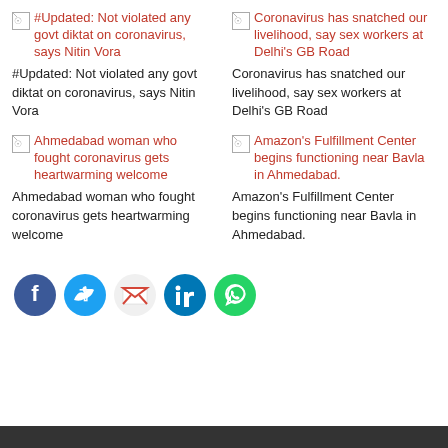[Figure (screenshot): Broken image icon with red link text: #Updated: Not violated any govt diktat on coronavirus, says Nitin Vora]
#Updated: Not violated any govt diktat on coronavirus, says Nitin Vora
[Figure (screenshot): Broken image icon with red link text: Coronavirus has snatched our livelihood, say sex workers at Delhi's GB Road]
Coronavirus has snatched our livelihood, say sex workers at Delhi's GB Road
[Figure (screenshot): Broken image icon with red link text: Ahmedabad woman who fought coronavirus gets heartwarming welcome]
Ahmedabad woman who fought coronavirus gets heartwarming welcome
[Figure (screenshot): Broken image icon with red link text: Amazon's Fulfillment Center begins functioning near Bavla in Ahmedabad.]
Amazon's Fulfillment Center begins functioning near Bavla in Ahmedabad.
[Figure (infographic): Social share icons: Facebook, Twitter, Gmail, LinkedIn, WhatsApp]